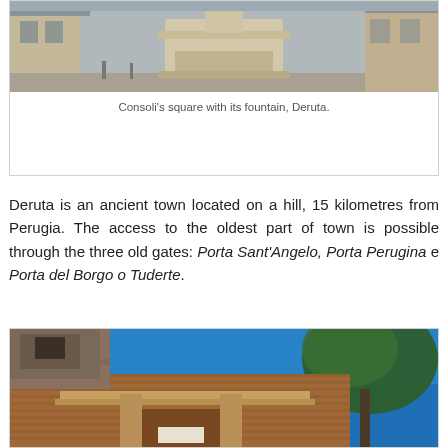[Figure (photo): Top portion of a photograph showing Consoli's square with a stone fountain in Deruta, Italy. Historic building facades visible in background.]
Consoli's square with its fountain, Deruta.
Deruta is an ancient town located on a hill, 15 kilometres from Perugia. The access to the oldest part of town is possible through the three old gates: Porta Sant'Angelo, Porta Perugina e Porta del Borgo o Tuderte.
[Figure (photo): Photograph of an ancient brick gate structure in Deruta with a blue sky and tree visible, showing the old town gate architecture.]